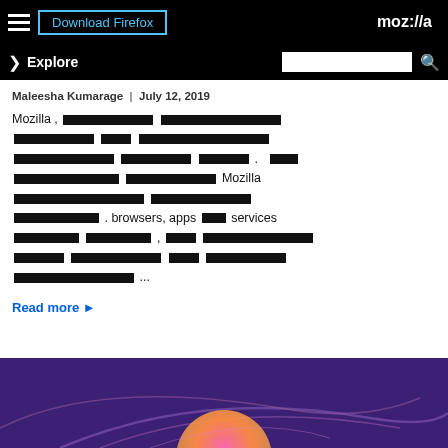Download Firefox | moz://a
Explore
Maleesha Kumarage | July 12, 2019
Mozilla , [redacted text] ... browsers, apps [redacted] services [redacted] ...
Read more ▶
[Figure (illustration): Purple/dark background with colorful curved lines and a partial circular shape at the bottom, resembling a Mozilla blog post header image.]